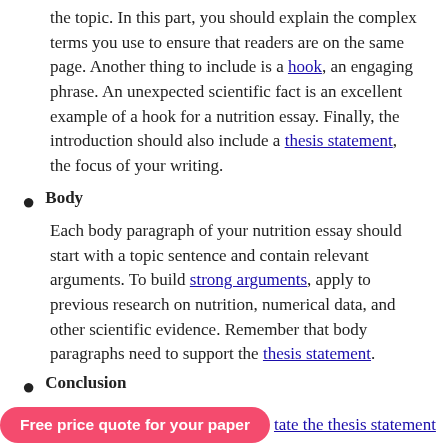the topic. In this part, you should explain the complex terms you use to ensure that readers are on the same page. Another thing to include is a hook, an engaging phrase. An unexpected scientific fact is an excellent example of a hook for a nutrition essay. Finally, the introduction should also include a thesis statement, the focus of your writing.
Body
Each body paragraph of your nutrition essay should start with a topic sentence and contain relevant arguments. To build strong arguments, apply to previous research on nutrition, numerical data, and other scientific evidence. Remember that body paragraphs need to support the thesis statement.
Conclusion
Free price quote for your paper    [tate the thesis statement]